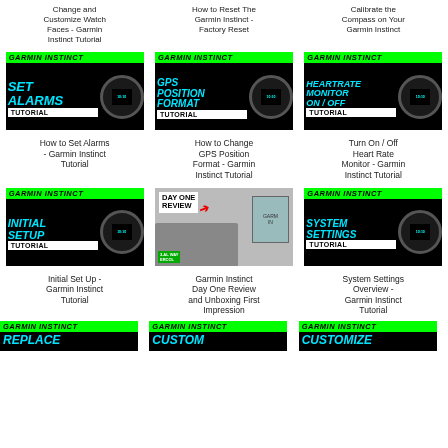Change and Customize Watch Faces - Garmin Instinct Tutorial
How to Reset The Garmin Instinct - Factory Reset
Calibrate the Compass on Your Garmin Instinct
[Figure (screenshot): Garmin Instinct SET ALARMS TUTORIAL thumbnail]
How to Set Alarms - Garmin Instinct Tutorial
[Figure (screenshot): Garmin Instinct GPS POSITION FORMAT TUTORIAL thumbnail]
How to Change GPS Position Format - Garmin Instinct Tutorial
[Figure (screenshot): Garmin Instinct HEARTRATE MONITOR ON/OFF TUTORIAL thumbnail]
Turn On / Off Heart Rate Monitor - Garmin Instinct Tutorial
[Figure (screenshot): Garmin Instinct INITIAL SETUP TUTORIAL thumbnail]
Initial Set Up - Garmin Instinct Tutorial
[Figure (screenshot): Garmin Instinct Day One Review thumbnail showing person and watch box]
Garmin Instinct Day One Review and Unboxing First Impression
[Figure (screenshot): Garmin Instinct SYSTEM SETTINGS TUTORIAL thumbnail]
System Settings Overview - Garmin Instinct Tutorial
[Figure (screenshot): Garmin Instinct REPLACE tutorial thumbnail (partial)]
[Figure (screenshot): Garmin Instinct CUSTOM tutorial thumbnail (partial)]
[Figure (screenshot): Garmin Instinct CUSTOMIZE tutorial thumbnail (partial)]